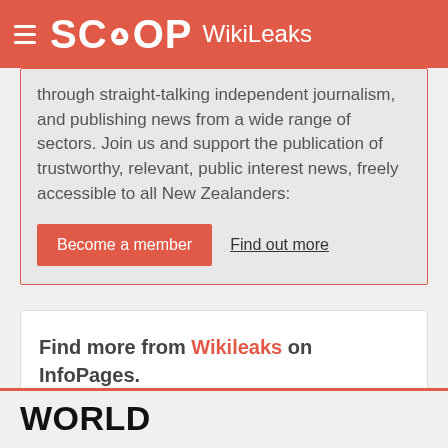SCOOP WikiLeaks
through straight-talking independent journalism, and publishing news from a wide range of sectors. Join us and support the publication of trustworthy, relevant, public interest news, freely accessible to all New Zealanders:
Become a member   Find out more
Find more from Wikileaks on InfoPages.
WORLD